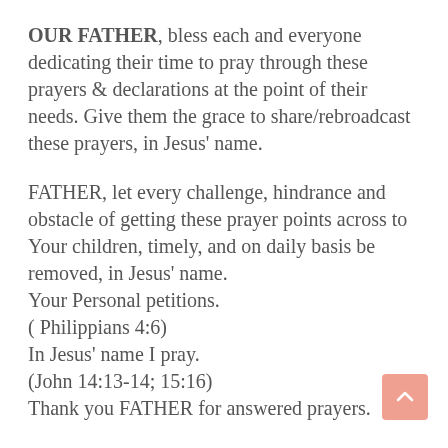OUR FATHER, bless each and everyone dedicating their time to pray through these prayers & declarations at the point of their needs. Give them the grace to share/rebroadcast these prayers, in Jesus' name.
FATHER, let every challenge, hindrance and obstacle of getting these prayer points across to Your children, timely, and on daily basis be removed, in Jesus' name.
Your Personal petitions.
( Philippians 4:6)
In Jesus' name I pray.
(John 14:13-14; 15:16)
Thank you FATHER for answered prayers.